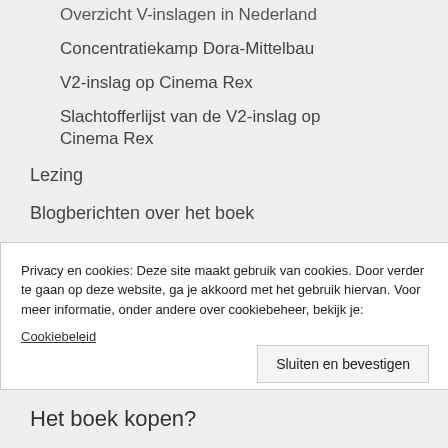Overzicht V-inslagen in Nederland
Concentratiekamp Dora-Mittelbau
V2-inslag op Cinema Rex
Slachtofferlijst van de V2-inslag op Cinema Rex
Lezing
Blogberichten over het boek
Facebookpagina
De laatste getuige: Louis Boeckmans (1929-2024)
Privacy en cookies: Deze site maakt gebruik van cookies. Door verder te gaan op deze website, ga je akkoord met het gebruik hiervan. Voor meer informatie, onder andere over cookiebeheer, bekijk je: Cookiebeleid
Sluiten en bevestigen
Het boek kopen?